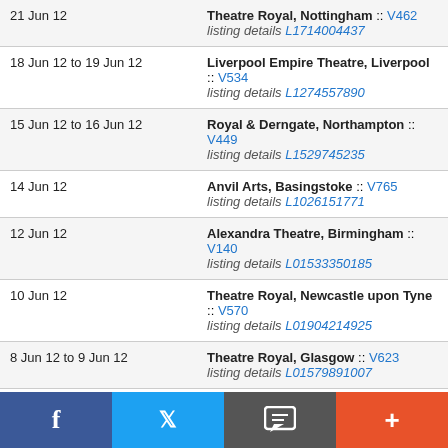| Date | Venue |
| --- | --- |
| 21 Jun 12 | Theatre Royal, Nottingham :: V462
listing details L1714004437 |
| 18 Jun 12 to 19 Jun 12 | Liverpool Empire Theatre, Liverpool :: V534
listing details L1274557890 |
| 15 Jun 12 to 16 Jun 12 | Royal & Derngate, Northampton :: V449
listing details L1529745235 |
| 14 Jun 12 | Anvil Arts, Basingstoke :: V765
listing details L1026151771 |
| 12 Jun 12 | Alexandra Theatre, Birmingham :: V140
listing details L01533350185 |
| 10 Jun 12 | Theatre Royal, Newcastle upon Tyne :: V570
listing details L01904214925 |
| 8 Jun 12 to 9 Jun 12 | Theatre Royal, Glasgow :: V623
listing details L01579891007 |
Social share bar: Facebook, Twitter, Message, Plus